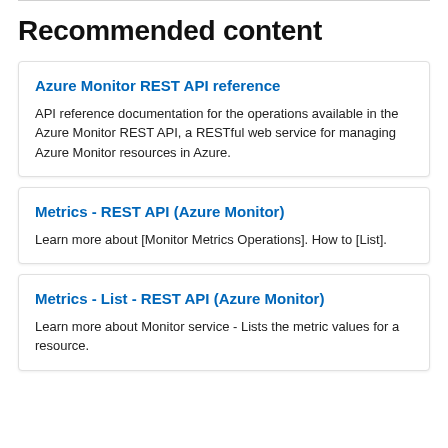Recommended content
Azure Monitor REST API reference
API reference documentation for the operations available in the Azure Monitor REST API, a RESTful web service for managing Azure Monitor resources in Azure.
Metrics - REST API (Azure Monitor)
Learn more about [Monitor Metrics Operations]. How to [List].
Metrics - List - REST API (Azure Monitor)
Learn more about Monitor service - Lists the metric values for a resource.